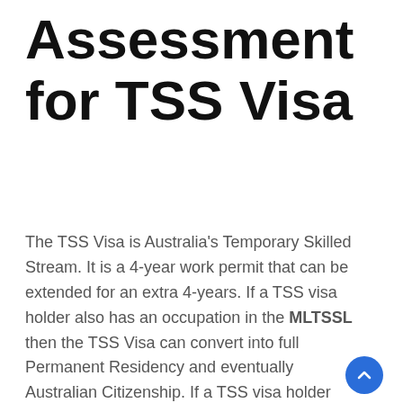Assessment for TSS Visa
The TSS Visa is Australia's Temporary Skilled Stream. It is a 4-year work permit that can be extended for an extra 4-years. If a TSS visa holder also has an occupation in the MLTSSL then the TSS Visa can convert into full Permanent Residency and eventually Australian Citizenship. If a TSS visa holder also has an occupation on the ST SOL then the TSS visa can never be upgraded to PR status.
The TSS Visa does not routinely require